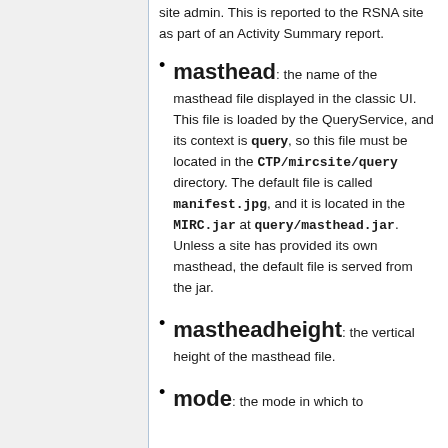site admin. This is reported to the RSNA site as part of an Activity Summary report.
masthead: the name of the masthead file displayed in the classic UI. This file is loaded by the QueryService, and its context is query, so this file must be located in the CTP/mircsite/query directory. The default file is called manifest.jpg, and it is located in the MIRC.jar at query/masthead.jar. Unless a site has provided its own masthead, the default file is served from the jar.
mastheadheight: the vertical height of the masthead file.
mode: the mode in which to